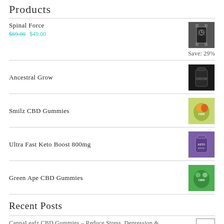Products
Spinal Force $69.00 $49.00 Save: 29%
Ancestral Grow
Smilz CBD Gummies
Ultra Fast Keto Boost 800mg
Green Ape CBD Gummies
Recent Posts
CannaLeafz CBD Gummies - Reduce Stress, Depression & Pain Naturally!